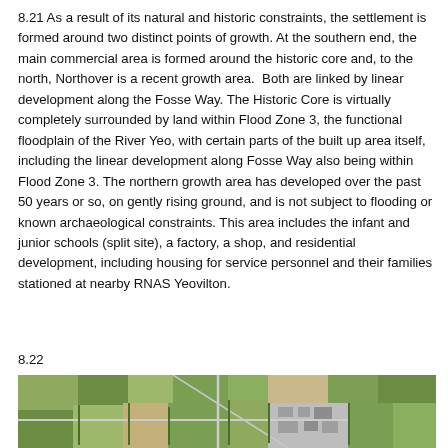8.21 As a result of its natural and historic constraints, the settlement is formed around two distinct points of growth. At the southern end, the main commercial area is formed around the historic core and, to the north, Northover is a recent growth area.  Both are linked by linear development along the Fosse Way. The Historic Core is virtually completely surrounded by land within Flood Zone 3, the functional floodplain of the River Yeo, with certain parts of the built up area itself, including the linear development along Fosse Way also being within Flood Zone 3. The northern growth area has developed over the past 50 years or so, on gently rising ground, and is not subject to flooding or known archaeological constraints. This area includes the infant and junior schools (split site), a factory, a shop, and residential development, including housing for service personnel and their families stationed at nearby RNAS Yeovilton.
8.22
[Figure (photo): Aerial photograph of a rural settlement showing fields, roads, and buildings including what appears to be a village or small town with surrounding agricultural land.]